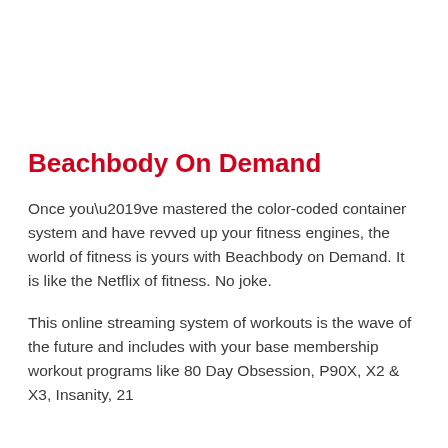Beachbody On Demand
Once you’ve mastered the color-coded container system and have revved up your fitness engines, the world of fitness is yours with Beachbody on Demand. It is like the Netflix of fitness. No joke.
This online streaming system of workouts is the wave of the future and includes with your base membership workout programs like 80 Day Obsession, P90X, X2 & X3, Insanity, 21